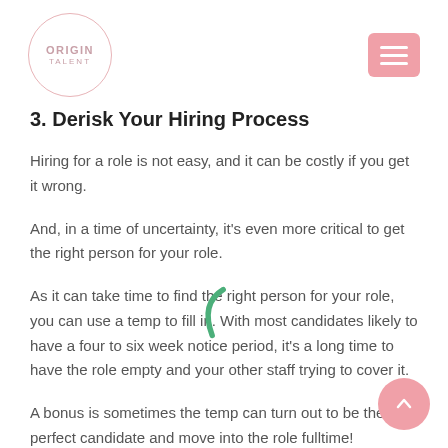ORIGIN TALENT
3. Derisk Your Hiring Process
Hiring for a role is not easy, and it can be costly if you get it wrong.
And, in a time of uncertainty, it’s even more critical to get the right person for your role.
As it can take time to find the right person for your role, you can use a temp to fill in. With most candidates likely to have a four to six week notice period, it's a long time to have the role empty and your other staff trying to cover it.
A bonus is sometimes the temp can turn out to be the perfect candidate and move into the role fulltime!
Finding a permanent employee for a brand new role can be